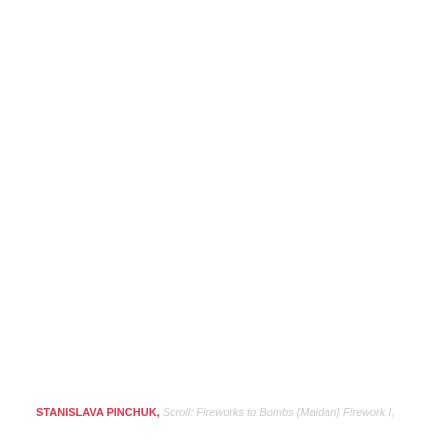STANISLAVA PINCHUK, Scroll: Fireworks to Bombs {Maidan} Firework I,